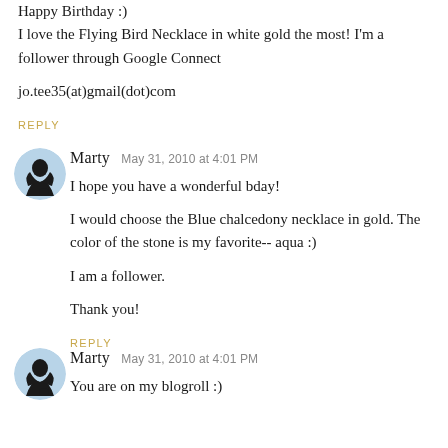Happy Birthday :)
I love the Flying Bird Necklace in white gold the most! I'm a follower through Google Connect

jo.tee35(at)gmail(dot)com
REPLY
Marty  May 31, 2010 at 4:01 PM
I hope you have a wonderful bday!

I would choose the Blue chalcedony necklace in gold. The color of the stone is my favorite-- aqua :)

I am a follower.

Thank you!
REPLY
Marty  May 31, 2010 at 4:01 PM
You are on my blogroll :)